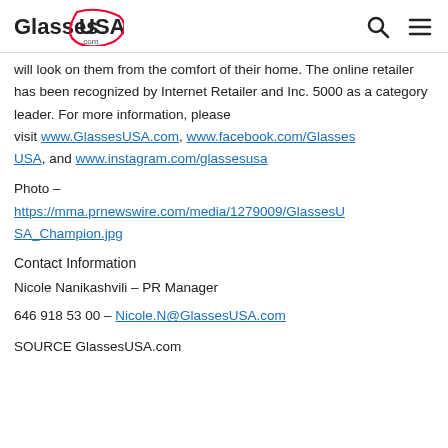GlassesUSA.com
will look on them from the comfort of their home. The online retailer has been recognized by Internet Retailer and Inc. 5000 as a category leader. For more information, please visit www.GlassesUSA.com, www.facebook.com/GlassesUSA, and www.instagram.com/glassesusa
Photo – https://mma.prnewswire.com/media/1279009/GlassesUSA_Champion.jpg
Contact Information
Nicole Nanikashvili – PR Manager
646 918 53 00 – Nicole.N@GlassesUSA.com
SOURCE GlassesUSA.com